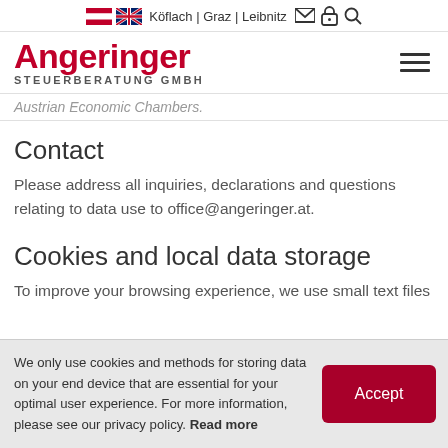Köflach | Graz | Leibnitz
Angeringer STEUERBERATUNG GMBH
Austrian Economic Chambers.
Contact
Please address all inquiries, declarations and questions relating to data use to office@angeringer.at.
Cookies and local data storage
To improve your browsing experience, we use small text files
We only use cookies and methods for storing data on your end device that are essential for your optimal user experience. For more information, please see our privacy policy. Read more